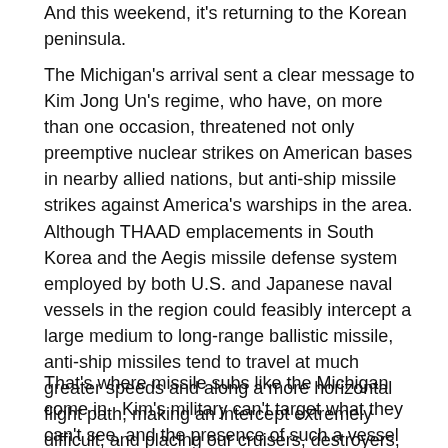And this weekend, it's returning to the Korean peninsula.
The Michigan's arrival sent a clear message to Kim Jong Un's regime, who have, on more than one occasion, threatened not only preemptive nuclear strikes on American bases in nearby allied nations, but anti-ship missile strikes against America's warships in the area.  Although THAAD emplacements in South Korea and the Aegis missile defense system employed by both U.S. and Japanese naval vessels in the region could feasibly intercept a large medium to long-range ballistic missile, anti-ship missiles tend to travel at much greater speeds and along a more horizontal flight path, making an intercept extremely difficult, and placing our cruisers, destroyers, and carriers at legitimate risk.
That's where missile subs like the Michigan come in.  Kim's military can't target what they can't see, and the presence of such a vessel not only adds to the overall defensive presence in the region, but places more than 150 more